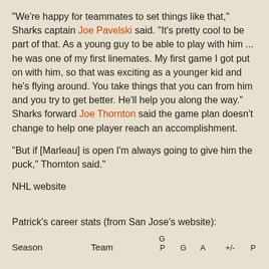"We're happy for teammates to set things like that," Sharks captain Joe Pavelski said. "It's pretty cool to be part of that. As a young guy to be able to play with him ... he was one of my first linemates. My first game I got put on with him, so that was exciting as a younger kid and he's flying around. You take things that you can from him and you try to get better. He'll help you along the way."
Sharks forward Joe Thornton said the game plan doesn't change to help one player reach an accomplishment.
"But if [Marleau] is open I'm always going to give him the puck," Thornton said."
NHL website
Patrick's career stats (from San Jose's website):
| Season | Team | GP | G | A | +/- | P |
| --- | --- | --- | --- | --- | --- | --- |